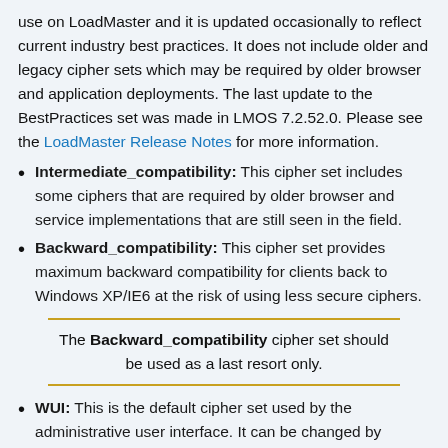use on LoadMaster and it is updated occasionally to reflect current industry best practices. It does not include older and legacy cipher sets which may be required by older browser and application deployments. The last update to the BestPractices set was made in LMOS 7.2.52.0. Please see the LoadMaster Release Notes for more information.
Intermediate_compatibility: This cipher set includes some ciphers that are required by older browser and service implementations that are still seen in the field.
Backward_compatibility: This cipher set provides maximum backward compatibility for clients back to Windows XP/IE6 at the risk of using less secure ciphers.
The Backward_compatibility cipher set should be used as a last resort only.
WUI: This is the default cipher set used by the administrative user interface. It can be changed by